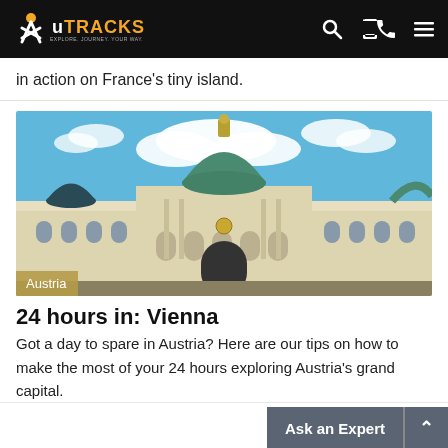UTRACKS
in action on France's tiny island.
[Figure (photo): Photograph of the Hofburg Palace in Vienna, Austria, featuring a grand baroque facade with a green copper dome, under a blue sky with clouds. An 'Austria' label tag appears in the lower left corner of the image.]
24 hours in: Vienna
Got a day to spare in Austria? Here are our tips on how to make the most of your 24 hours exploring Austria's grand capital.